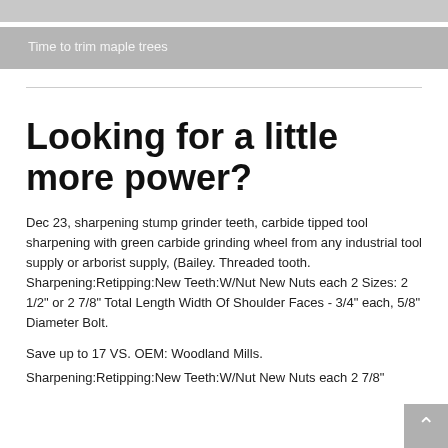Time to trim maple trees
Looking for a little more power?
Dec 23, sharpening stump grinder teeth, carbide tipped tool sharpening with green carbide grinding wheel from any industrial tool supply or arborist supply, (Bailey. Threaded tooth. Sharpening:Retipping:New Teeth:W/Nut New Nuts each 2 Sizes: 2 1/2" or 2 7/8" Total Length Width Of Shoulder Faces - 3/4" each, 5/8" Diameter Bolt.
Save up to 17 VS. OEM: Woodland Mills.
Sharpening:Retipping:New Teeth:W/Nut New Nuts each 2 7/8"